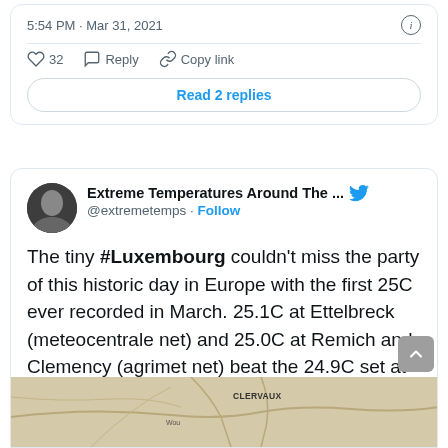5:54 PM · Mar 31, 2021
32  Reply  Copy link
Read 2 replies
Extreme Temperatures Around The ... @extremetemps · Follow
The tiny #Luxembourg couldn't miss the party of this historic day in Europe with the first 25C ever recorded in March. 25.1C at Ettelbreck (meteocentrale net) and 25.0C at Remich and Clemency (agrimet net) beat the 24.9C set at Echternnach in 1989.
[Figure (map): Map preview showing CLERVAUX label area in Luxembourg]